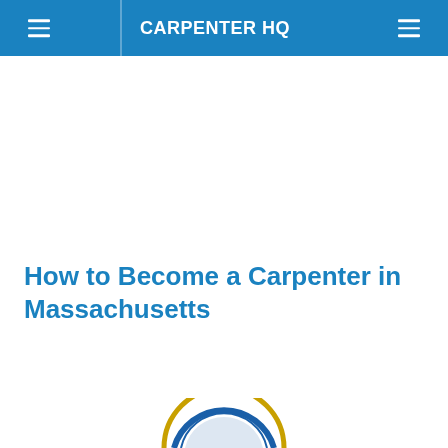CARPENTER HQ
How to Become a Carpenter in Massachusetts
[Figure (illustration): Partial view of a Massachusetts state seal emblem at the bottom of the page, showing a circular seal with blue and gold coloring]